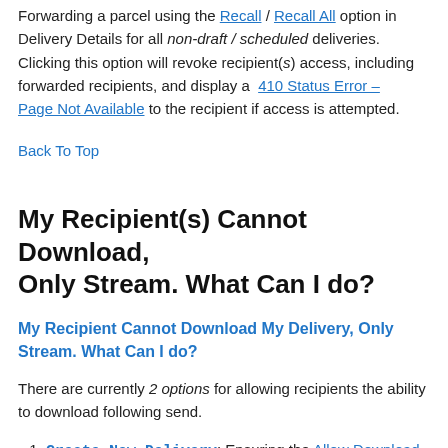Forwarding a parcel using the Recall / Recall All option in Delivery Details for all non-draft / scheduled deliveries. Clicking this option will revoke recipient(s) access, including forwarded recipients, and display a 410 Status Error – Page Not Available to the recipient if access is attempted.
Back To Top
My Recipient(s) Cannot Download, Only Stream. What Can I do?
My Recipient Cannot Download My Delivery, Only Stream. What Can I do?
There are currently 2 options for allowing recipients the ability to download following send.
Create New Delivery: Ensuring the Allow Download option is enabled from the Content Settings and Send the delivery.
Clone Delivery: Enable Allow Download and Send